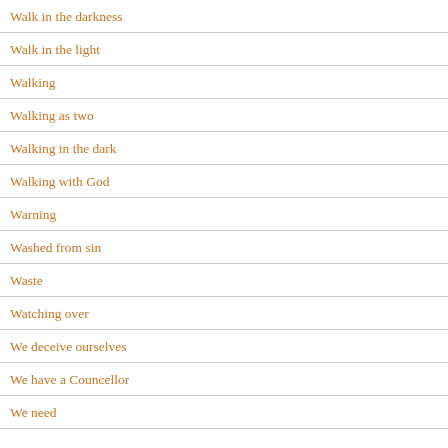Walk in the darkness
Walk in the light
Walking
Walking as two
Walking in the dark
Walking with God
Warning
Washed from sin
Waste
Watching over
We deceive ourselves
We have a Councellor
We need